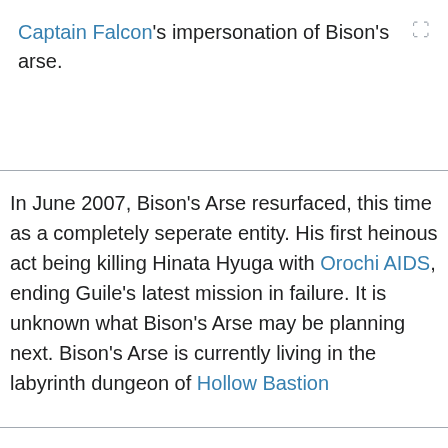Captain Falcon's impersonation of Bison's arse.
In June 2007, Bison's Arse resurfaced, this time as a completely seperate entity. His first heinous act being killing Hinata Hyuga with Orochi AIDS, ending Guile's latest mission in failure. It is unknown what Bison's Arse may be planning next. Bison's Arse is currently living in the labyrinth dungeon of Hollow Bastion
M. Bison had this to say about Bison's Arse.
"I'm afraid I don't have one!"